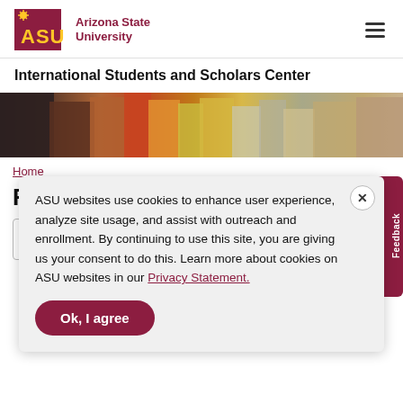[Figure (logo): ASU Arizona State University logo with maroon box and gold sun icon, and maroon text 'Arizona State University']
International Students and Scholars Center
[Figure (photo): Hero banner photo showing a group of people outdoors in colorful clothing]
Home
Re...
Se...
ASU websites use cookies to enhance user experience, analyze site usage, and assist with outreach and enrollment. By continuing to use this site, you are giving us your consent to do this. Learn more about cookies on ASU websites in our Privacy Statement.
Ok, I agree